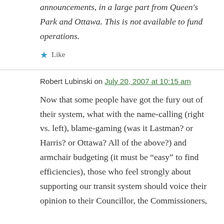announcements, in a large part from Queen's Park and Ottawa. This is not available to fund operations.
Like
Robert Lubinski on July 20, 2007 at 10:15 am
Now that some people have got the fury out of their system, what with the name-calling (right vs. left), blame-gaming (was it Lastman? or Harris? or Ottawa? All of the above?) and armchair budgeting (it must be “easy” to find efficiencies), those who feel strongly about supporting our transit system should voice their opinion to their Councillor, the Commissioners,